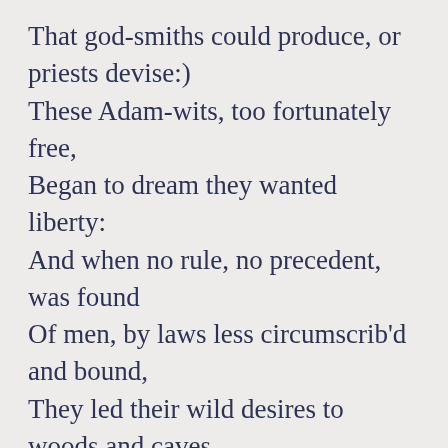That god-smiths could produce, or priests devise:)
These Adam-wits, too fortunately free,
Began to dream they wanted liberty:
And when no rule, no precedent, was found
Of men, by laws less circumscrib'd and bound,
They led their wild desires to woods and caves,
And thought that all but savages were slaves.
They who, when Saul was dead, without a